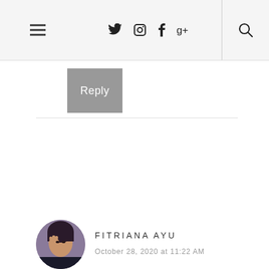≡  𝕏 ⎙ f g+  🔍
[Figure (other): Reply button - grey square button with white text 'Reply']
[Figure (photo): Circular avatar photo of a person (Fitriana Ayu) with hand near face]
FITRIANA AYU
October 28, 2020 at 11:22 AM